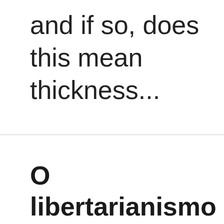and if so, does this mean thickness...
O libertarianismo é mais que anti-